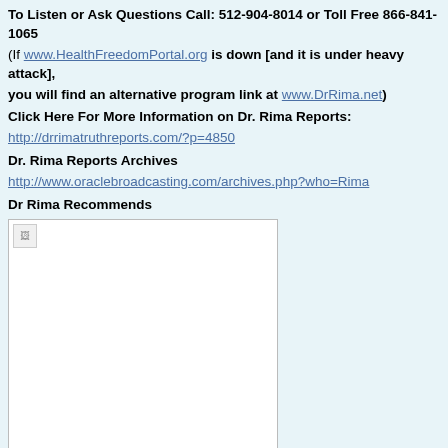To Listen or Ask Questions Call: 512-904-8014 or Toll Free 866-841-1065
(If www.HealthFreedomPortal.org is down [and it is under heavy attack], you will find an alternative program link at www.DrRima.net)
Click Here For More Information on Dr. Rima Reports:
http://drrimatruthreports.com/?p=4850
Dr. Rima Reports Archives
http://www.oraclebroadcasting.com/archives.php?who=Rima
Dr Rima Recommends
[Figure (photo): Broken image placeholder - Valley of the Moon BeyondOrganic Coffee product image]
Valley of the Moon™ BeyondOrganic™ Coffee!
www.ValleyoftheMoonCoffee.org
Delight Your Taste Buds AND Support Health Freedom At the Same Time
Don't forget to get yourself some of our exceptional Valley of the Moon™ as your gift for birthdays, Christmas, Hanukkah, corporate gifts, Holiday Natural Solutions Foundation at the same time and it tastes WONDERFU In fact, we want you to try, and then keep on drinking, our wonderful Vall our spectacular coffee for $18.97 plus shipping. This same bag normally